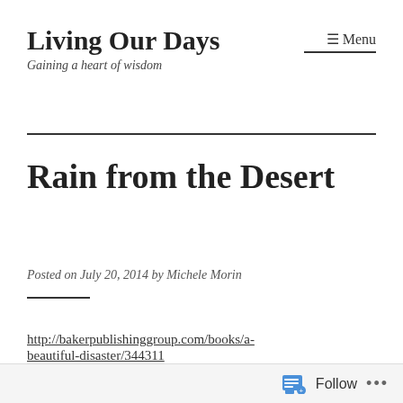Living Our Days
Gaining a heart of wisdom
Rain from the Desert
Posted on July 20, 2014 by Michele Morin
http://bakerpublishinggroup.com/books/a-beautiful-disaster/344311